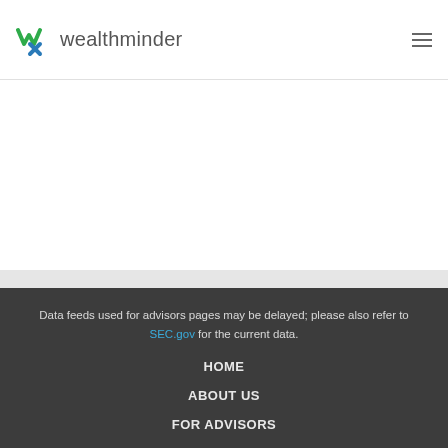wealthminder
Data feeds used for advisors pages may be delayed; please also refer to SEC.gov for the current data.
HOME
ABOUT US
FOR ADVISORS